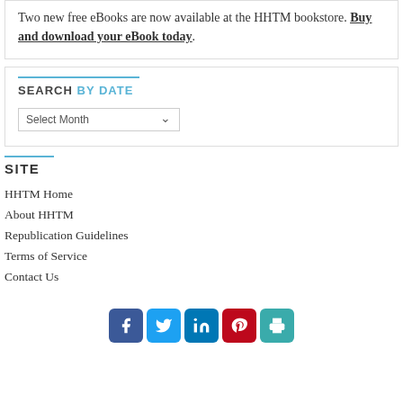Two new free eBooks are now available at the HHTM bookstore. Buy and download your eBook today.
SEARCH BY DATE
Select Month
SITE
HHTM Home
About HHTM
Republication Guidelines
Terms of Service
Contact Us
[Figure (infographic): Social media icons: Facebook, Twitter, LinkedIn, Pinterest, Print]